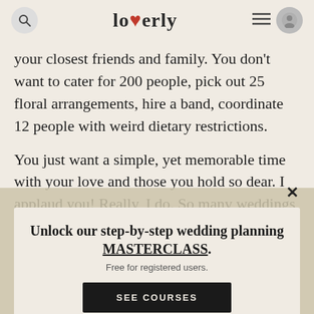loverly
your closest friends and family. You don't want to cater for 200 people, pick out 25 floral arrangements, hire a band, coordinate 12 people with weird dietary restrictions.
You just want a simple, yet memorable time with your love and those you hold so dear. I applaud you! Really, I do. So many weddings these days get so large that, as a couple, you can't truly soak it all in and it can often become overwhelming. (Don't get me wrong here, I love big weddings too. Different strokes for different folks.) But there's a rising trend in smaller, 'private' wedding celebrations over the last couple of years and I'll admit that I'm quite fond of it.
They are usually far less stressful for the couple and
[Figure (other): Modal overlay promoting 'Unlock our step-by-step wedding planning MASTERCLASS. Free for registered users.' with a 'SEE COURSES' button and a close (×) button.]